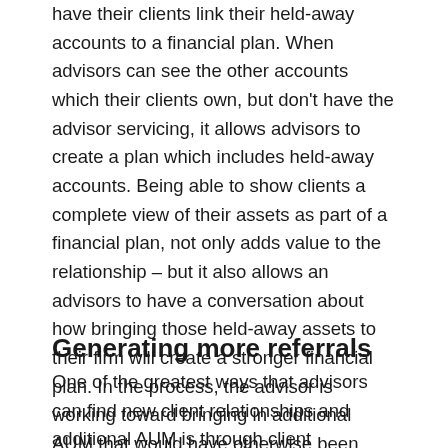have their clients link their held-away accounts to a financial plan. When advisors can see the other accounts which their clients own, but don't have the advisor servicing, it allows advisors to create a plan which includes held-away accounts. Being able to show clients a complete view of their assets as part of a financial plan, not only adds value to the relationship – but it also allows an advisors to have a conversation about how bringing those held-away assets to their firm will create a stronger financial plan. In the process, the advisor is working toward bringing in additional AUM that would have otherwise been unknown.
Generating more referrals
One of the greatest ways that advisors can find new client relationships and additional AUM is through client